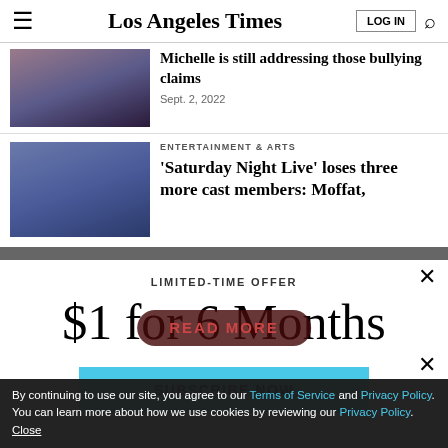Los Angeles Times
[Figure (photo): Photo of a woman in black outfit]
Michelle is still addressing those bullying claims
Sept. 2, 2022
ENTERTAINMENT & ARTS
[Figure (photo): Photo of three SNL cast members]
'Saturday Night Live' loses three more cast members: Moffat,
LIMITED-TIME OFFER
$1 for 6 Months
SUBSCRIBE NOW
By continuing to use our site, you agree to our Terms of Service and Privacy Policy. You can learn more about how we use cookies by reviewing our Privacy Policy. Close